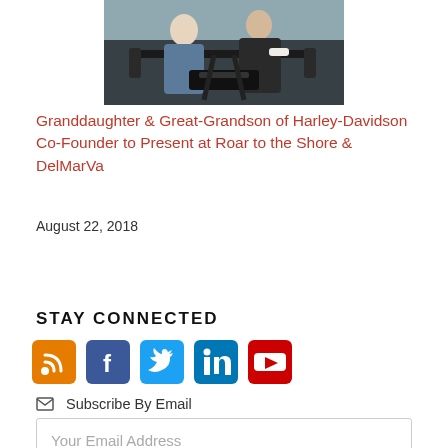[Figure (photo): Two people on a motorcycle/trike, cropped top portion showing handlebars and riders]
Granddaughter & Great-Grandson of Harley-Davidson Co-Founder to Present at Roar to the Shore & DelMarVa
August 22, 2018
STAY CONNECTED
[Figure (infographic): Social media icons: RSS (orange), Facebook (blue), Twitter (light blue), LinkedIn (dark blue), YouTube (red)]
Subscribe By Email
Your Email Address